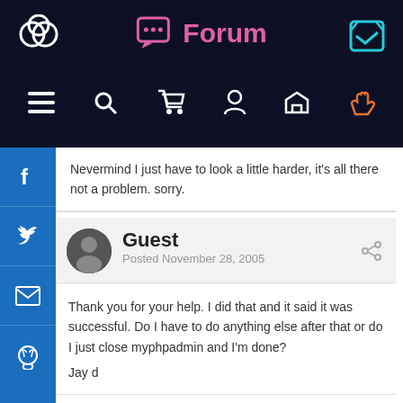Forum
Nevermind I just have to look a little harder, it's all there not a problem. sorry.
Guest
Posted November 28, 2005
Thank you for your help. I did that and it said it was successful. Do I have to do anything else after that or do I just close myphpadmin and I'm done?

Jay d